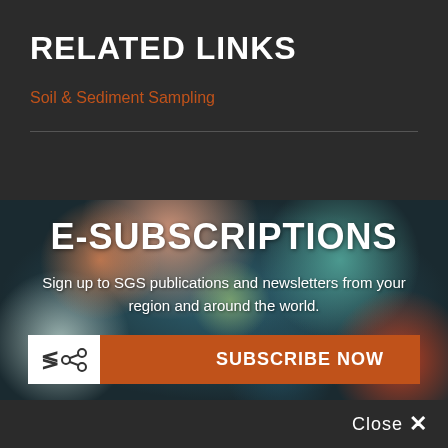RELATED LINKS
Soil & Sediment Sampling
[Figure (photo): Blurred bokeh background with colorful out-of-focus light circles in teal, orange, red, and green tones]
E-SUBSCRIPTIONS
Sign up to SGS publications and newsletters from your region and around the world.
SUBSCRIBE NOW
Close ×